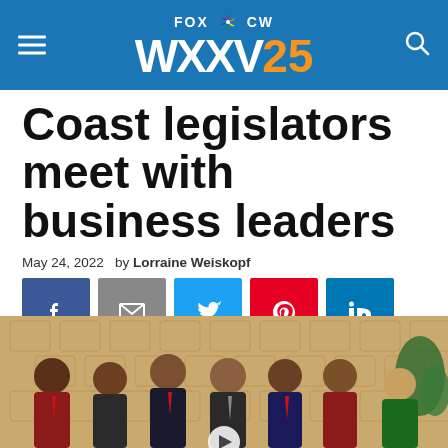FOX NBC CW WXXV25
Coast legislators meet with business leaders
May 24, 2022  by Lorraine Weiskopf
[Figure (other): Social media share buttons: Facebook, Email, Twitter, Pinterest, LinkedIn]
[Figure (photo): Group photo of six people including legislators and business leaders standing indoors in front of a patterned wall]